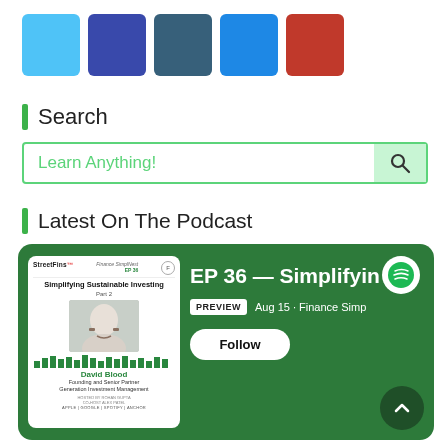[Figure (other): Five colored squares in a row: sky blue, navy blue, dark teal, medium blue, red]
Search
[Figure (other): Search box with placeholder text 'Learn Anything!' and a green magnifying glass button]
Latest On The Podcast
[Figure (other): Spotify podcast card on green background showing EP 36 - Simplifying Sustainable Investing, with David Blood, Founding and Senior Partner, Generation Investment Management. Preview badge, Aug 15, Finance Simp, Follow button, Spotify logo.]